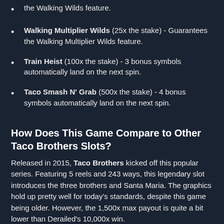the Walking Wilds feature.
Walking Multiplier Wilds (25x the stake) - Guarantees the Walking Multiplier Wilds feature.
Train Heist (100x the stake) - 3 bonus symbols automatically land on the next spin.
Taco Smash N' Grab (500x the stake) - 4 bonus symbols automatically land on the next spin.
How Does This Game Compare to Other Taco Brothers Slots?
Released in 2015, Taco Brothers kicked off this popular series. Featuring 5 reels and 243 ways, this legendary slot introduces the three brothers and Santa Maria. The graphics hold up pretty well for today's standards, despite this game being older. However, the 1,500x max payout is quite a bit lower than Derailed's 10,000x win.
The follow-up, Taco Brothers Saving Christmas, dropped the following year in 2016. Another 5-reel, 243-way game it